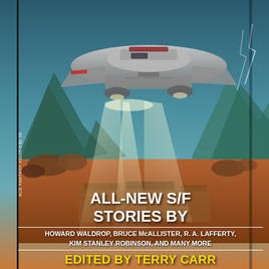[Figure (illustration): Science fiction book cover illustration showing a large silver spaceship hovering over a rocky alien landscape with mountains in the background and beams of light shining down onto an alien city or structure below. Teal and orange color scheme.]
ALL-NEW S/F STORIES BY
HOWARD WALDROP, BRUCE McALLISTER, R. A. LAFFERTY, KIM STANLEY ROBINSON, AND MANY MORE
EDITED BY TERRY CARR